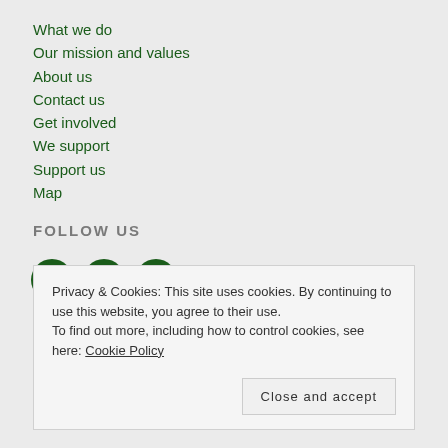What we do
Our mission and values
About us
Contact us
Get involved
We support
Support us
Map
FOLLOW US
[Figure (other): Social media icons: Facebook, Twitter, Instagram]
Privacy & Cookies: This site uses cookies. By continuing to use this website, you agree to their use. To find out more, including how to control cookies, see here: Cookie Policy
Close and accept